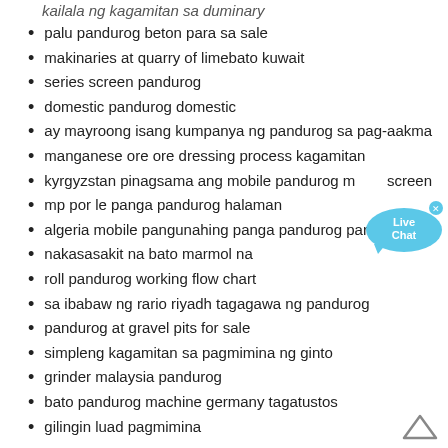kailala ng kagamitan sa duminary
palu pandurog beton para sa sale
makinaries at quarry of limebato kuwait
series screen pandurog
domestic pandurog domestic
ay mayroong isang kumpanya ng pandurog sa pag-aakma
manganese ore ore dressing process kagamitan
kyrgyzstan pinagsama ang mobile pandurog m screen
mp por le panga pandurog halaman
algeria mobile pangunahing panga pandurog para ibenta
nakasasakit na bato marmol na
roll pandurog working flow chart
sa ibabaw ng rario riyadh tagagawa ng pandurog
pandurog at gravel pits for sale
simpleng kagamitan sa pagmimina ng ginto
grinder malaysia pandurog
bato pandurog machine germany tagatustos
gilingin luad pagmimina